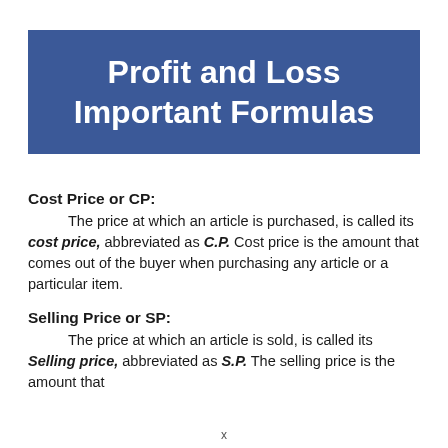Profit and Loss Important Formulas
Cost Price or CP:
The price at which an article is purchased, is called its cost price, abbreviated as C.P. Cost price is the amount that comes out of the buyer when purchasing any article or a particular item.
Selling Price or SP:
The price at which an article is sold, is called its Selling price, abbreviated as S.P. The selling price is the amount that
x